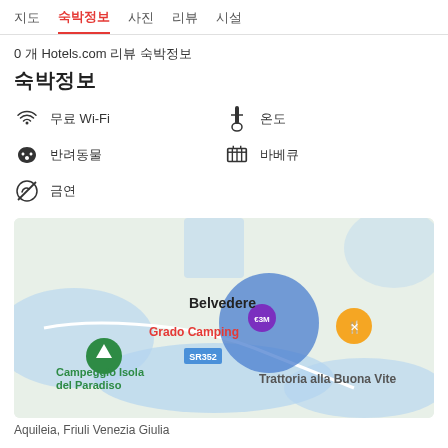지도  숙박정보  사진  리뷰  시설
0 개 Hotels.com 리뷰 숙박정보
숙박정보
무료 Wi-Fi
온도
반려동물
바베큐
금연
[Figure (map): Google map showing Grado Camping area in Friuli Venezia Giulia, Italy. Shows locations including Belvedere, Grado Camping, Campeggio Isola del Paradiso, Trattoria alla Buona Vite, road SR352. A blue circle marker is shown near Grado Camping.]
Aquileia, Friuli Venezia Giulia